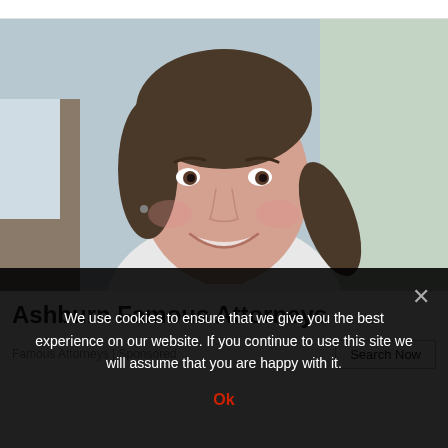[Figure (photo): Portrait photo of a smiling young woman with dark hair pulled back, wearing a white top, photographed indoors near a window with a blurred background.]
Ashburn Famous Attorneys
Famous Attorneys | Sponsored
Search Now
We use cookies to ensure that we give you the best experience on our website. If you continue to use this site we will assume that you are happy with it.
Ok